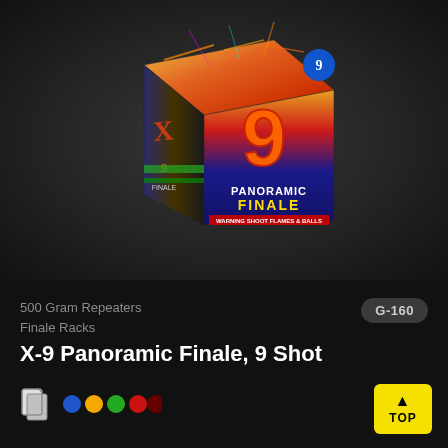[Figure (photo): Product photo of X-9 Panoramic Finale 9-Shot fireworks box on dark background. The box features colorful fireworks imagery with a large number 9 and the text 'Panoramic Finale' prominently displayed.]
500 Gram Repeaters
Finale Racks
G-160
X-9 Panoramic Finale, 9 Shot
[Figure (illustration): Color swatch icon and color dot indicators (blue, orange/yellow, green, red, dark red) indicating product colors or effects]